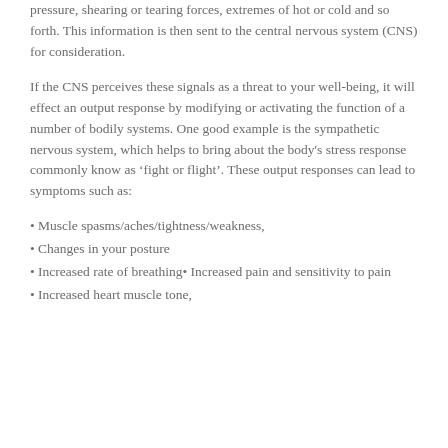pressure, shearing or tearing forces, extremes of hot or cold and so forth. This information is then sent to the central nervous system (CNS) for consideration.
If the CNS perceives these signals as a threat to your well-being, it will effect an output response by modifying or activating the function of a number of bodily systems. One good example is the sympathetic nervous system, which helps to bring about the body's stress response commonly know as ‘fight or flight’. These output responses can lead to symptoms such as:
Muscle spasms/aches/tightness/weakness,
Changes in your posture
Increased rate of breathing• Increased pain and sensitivity to pain
Increased heart muscle tone,